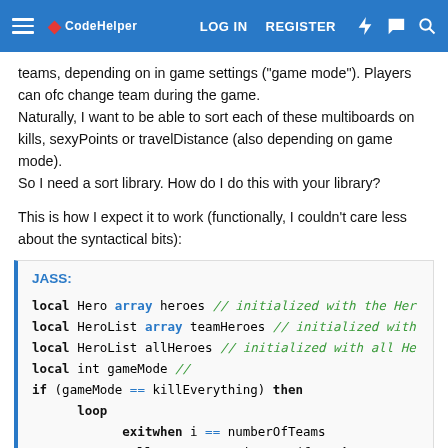LOG IN   REGISTER
teams, depending on in game settings ("game mode"). Players can ofc change team during the game.
Naturally, I want to be able to sort each of these multiboards on kills, sexyPoints or travelDistance (also depending on game mode).
So I need a sort library. How do I do this with your library?
This is how I expect it to work (functionally, I couldn't care less about the syntactical bits):
[Figure (screenshot): Code block labeled JASS: showing local variable declarations and an if statement with a loop in JASS scripting language syntax]